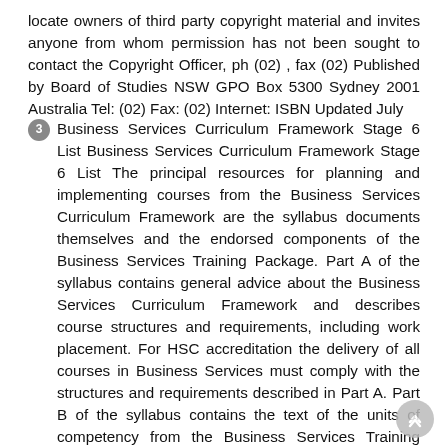locate owners of third party copyright material and invites anyone from whom permission has not been sought to contact the Copyright Officer, ph (02) , fax (02) Published by Board of Studies NSW GPO Box 5300 Sydney 2001 Australia Tel: (02) Fax: (02) Internet: ISBN Updated July
3  Business Services Curriculum Framework Stage 6 List Business Services Curriculum Framework Stage 6 List The principal resources for planning and implementing courses from the Business Services Curriculum Framework are the syllabus documents themselves and the endorsed components of the Business Services Training Package. Part A of the syllabus contains general advice about the Business Services Curriculum Framework and describes course structures and requirements, including work placement. For HSC accreditation the delivery of all courses in Business Services must comply with the structures and requirements described in Part A. Part B of the syllabus contains the text of the units of competency from the Business Services Training Package that comprise the AQF Certificate II in Business. Part B must be used in the delivery of 120 and 240 indicative hour HSC courses in Business Services. Units of competency included